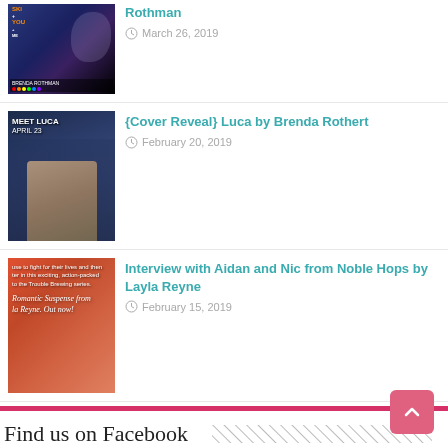[Figure (photo): Book cover thumbnail - YOU by Brenda Rothman]
Rothman
March 26, 2019
[Figure (photo): Book cover thumbnail - Meet Luca April 23 - Luca by Brenda Rothert]
{Cover Reveal} Luca by Brenda Rothert
February 20, 2019
[Figure (photo): Book cover thumbnail - Noble Hops by Layla Reyne - Romantic Suspense]
Interview with Aidan and Nic from Noble Hops by Layla Reyne
February 15, 2019
Find us on Facebook